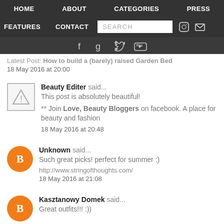HOME  ABOUT  CATEGORIES  PRESS  FEATURES  CONTACT  SEARCH
Latest Post: How to build a (barely) raised Garden Bed
18 May 2016 at 20:00
Beauty Editer said...
This post is absolutely beautiful!

** Join Love, Beauty Bloggers on facebook. A place for beauty and fashion
18 May 2016 at 20:48
Unknown said...
Such great picks! perfect for summer :)
http://www.stringofthoughts.com/
18 May 2016 at 21:08
Kasztanowy Domek said...
Great outfits!!! :))